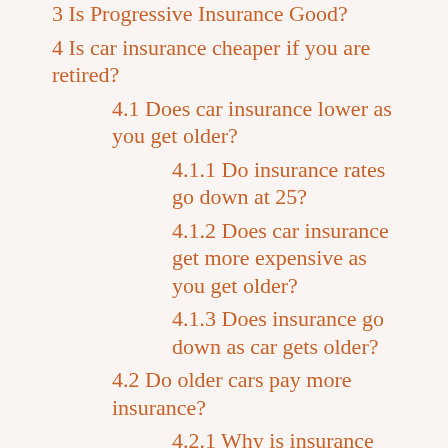3 Is Progressive Insurance Good?
4 Is car insurance cheaper if you are retired?
4.1 Does car insurance lower as you get older?
4.1.1 Do insurance rates go down at 25?
4.1.2 Does car insurance get more expensive as you get older?
4.1.3 Does insurance go down as car gets older?
4.2 Do older cars pay more insurance?
4.2.1 Why is insurance more expensive on older cars?
4.2.2 Do older cars have